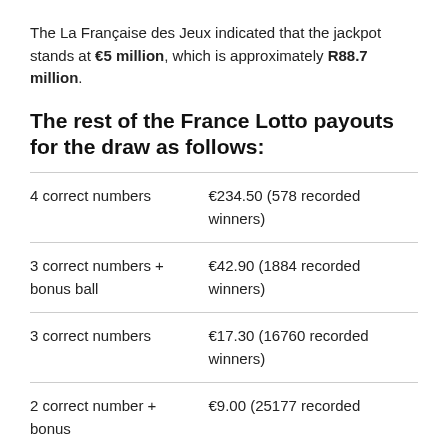The La Française des Jeux indicated that the jackpot stands at €5 million, which is approximately R88.7 million.
The rest of the France Lotto payouts for the draw as follows:
| Category | Payout |
| --- | --- |
| 4 correct numbers | €234.50 (578 recorded winners) |
| 3 correct numbers + bonus ball | €42.90 (1884 recorded winners) |
| 3 correct numbers | €17.30 (16760 recorded winners) |
| 2 correct number + bonus | €9.00 (25177 recorded |